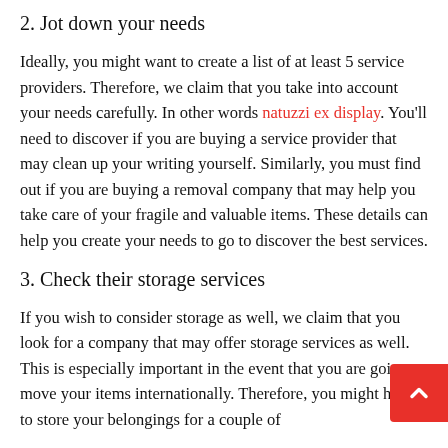2. Jot down your needs
Ideally, you might want to create a list of at least 5 service providers. Therefore, we claim that you take into account your needs carefully. In other words natuzzi ex display. You'll need to discover if you are buying a service provider that may clean up your writing yourself. Similarly, you must find out if you are buying a removal company that may help you take care of your fragile and valuable items. These details can help you create your needs to go to discover the best services.
3. Check their storage services
If you wish to consider storage as well, we claim that you look for a company that may offer storage services as well. This is especially important in the event that you are going to move your items internationally. Therefore, you might have to store your belongings for a couple of